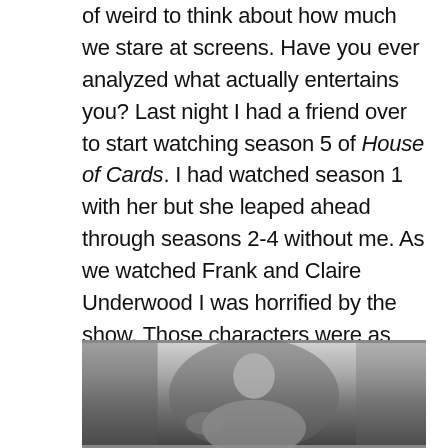of weird to think about how much we stare at screens. Have you ever analyzed what actually entertains you? Last night I had a friend over to start watching season 5 of House of Cards. I had watched season 1 with her but she leaped ahead through seasons 2-4 without me. As we watched Frank and Claire Underwood I was horrified by the show. Those characters were as depressing as Donald Trump, and I'm definitely not entertained by him. Our current prez has turned me off to all politicians both real and imagined. Then I remembered the movie I had watched the previous night, about angels. Now that was entertaining. And, I don't even believe in angels.
[Figure (photo): Black and white photograph showing a person, partially visible from the chest up, appearing to be in an interior setting.]